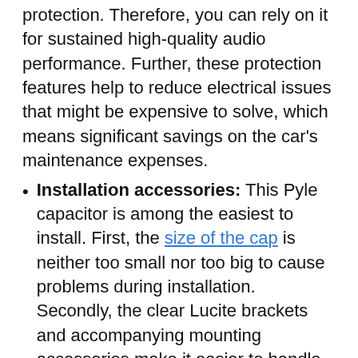electronic over-voltage and polarity protection. Therefore, you can rely on it for sustained high-quality audio performance. Further, these protection features help to reduce electrical issues that might be expensive to solve, which means significant savings on the car's maintenance expenses.
Installation accessories: This Pyle capacitor is among the easiest to install. First, the size of the cap is neither too small nor too big to cause problems during installation. Secondly, the clear Lucite brackets and accompanying mounting accessories make it easier to handle the cap.
Something beginning... (partial, cut off)